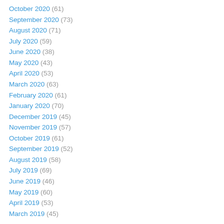October 2020 (61)
September 2020 (73)
August 2020 (71)
July 2020 (59)
June 2020 (38)
May 2020 (43)
April 2020 (53)
March 2020 (63)
February 2020 (61)
January 2020 (70)
December 2019 (45)
November 2019 (57)
October 2019 (61)
September 2019 (52)
August 2019 (58)
July 2019 (69)
June 2019 (46)
May 2019 (60)
April 2019 (53)
March 2019 (45)